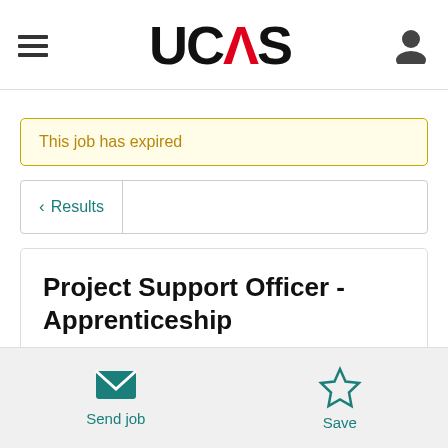[Figure (logo): UCAS logo with hamburger menu and user icon in header navigation bar]
This job has expired
< Results
Project Support Officer - Apprenticeship
Send job
Save